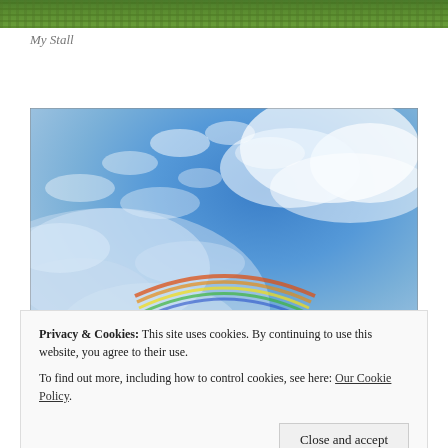[Figure (photo): Strip of green grass/nature at the top of the page]
My Stall
[Figure (photo): Photograph of a blue sky with clouds and a circumhorizontal arc (rainbow arc) visible across the middle of the image]
Privacy & Cookies: This site uses cookies. By continuing to use this website, you agree to their use.
To find out more, including how to control cookies, see here: Our Cookie Policy
A Circumhorizontal Arc above our Home June 2014